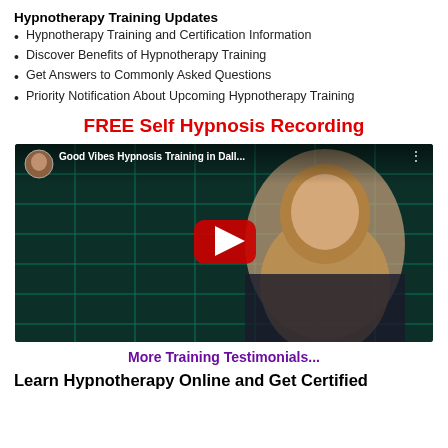Hypnotherapy Training Updates
Hypnotherapy Training and Certification Information
Discover Benefits of Hypnotherapy Training
Get Answers to Commonly Asked Questions
Priority Notification About Upcoming Hypnotherapy Training
FREE Self Hypnosis Recording
[Figure (screenshot): YouTube video thumbnail showing a woman with long blonde hair against a teal grid background. Title reads 'Good Vibes Hypnosis Training in Dall...' with a red YouTube play button in the center.]
More Training Testimonials...
Learn Hypnotherapy Online and Get Certified